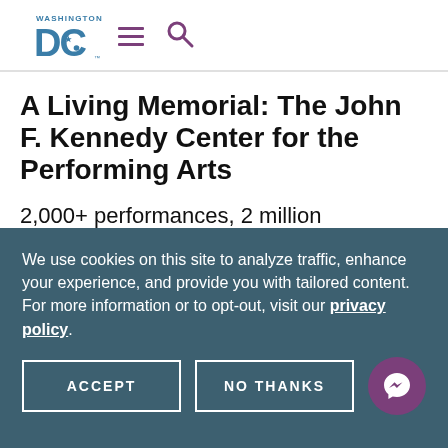Washington DC logo with hamburger menu and search icon
A Living Memorial: The John F. Kennedy Center for the Performing Arts
2,000+ performances, 2 million attendees, free performances every single
We use cookies on this site to analyze traffic, enhance your experience, and provide you with tailored content. For more information or to opt-out, visit our privacy policy.
ACCEPT
NO THANKS